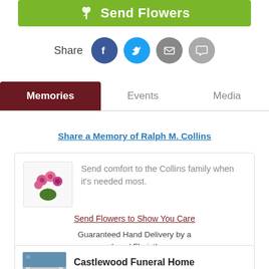[Figure (other): Green 'Send Flowers' button with flower icon]
Share
[Figure (other): Social share icons: Facebook, Twitter, Email, Message]
Memories  Events  Media (tab bar, Memories active)
Share a Memory of Ralph M. Collins
[Figure (other): Flower bouquet thumbnail image]
Send comfort to the Collins family when it's needed most.
Send Flowers to Show You Care
Guaranteed Hand Delivery by a Local Florist!
[Figure (photo): Castlewood Funeral Home building photo thumbnail]
Castlewood Funeral Home
3 months ago